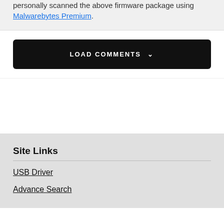personally scanned the above firmware package using Malwarebytes Premium.
LOAD COMMENTS
Site Links
USB Driver
Advance Search